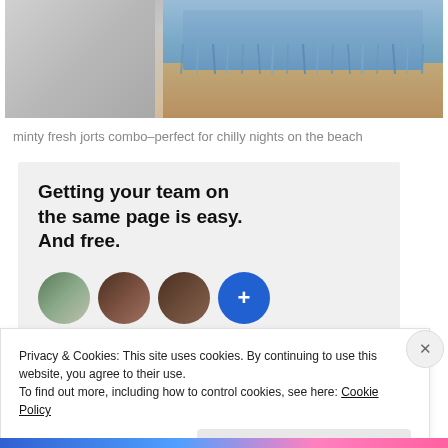[Figure (photo): Close-up photo of distressed denim cutoff shorts (jorts) with frayed hem, showing lower torso/skin against a light grey background]
minty fresh jorts combo–perfect for chilly nights on the beach
[Figure (screenshot): Advertisement or promo box with grey background. Bold text reads: 'Getting your team on the same page is easy. And free.' Below are circular avatar images of people and a blue circle with a plus icon.]
Privacy & Cookies: This site uses cookies. By continuing to use this website, you agree to their use.
To find out more, including how to control cookies, see here: Cookie Policy
Close and accept